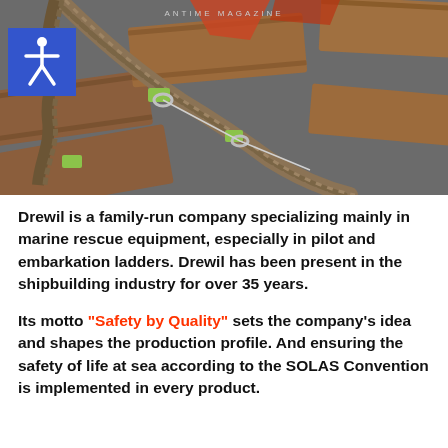ANTIME MAGAZINE
[Figure (photo): Overhead view of wooden ship ladder steps with rope and green fittings, showing pilot/embarkation ladder construction]
Drewil is a family-run company specializing mainly in marine rescue equipment, especially in pilot and embarkation ladders. Drewil has been present in the shipbuilding industry for over 35 years.
Its motto "Safety by Quality" sets the company's idea and shapes the production profile. And ensuring the safety of life at sea according to the SOLAS Convention is implemented in every product.